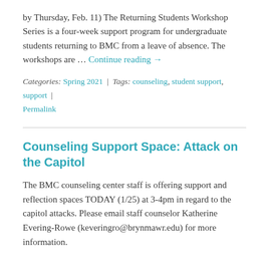by Thursday, Feb. 11) The Returning Students Workshop Series is a four-week support program for undergraduate students returning to BMC from a leave of absence. The workshops are … Continue reading →
Categories: Spring 2021 | Tags: counseling, student support, support | Permalink
Counseling Support Space: Attack on the Capitol
The BMC counseling center staff is offering support and reflection spaces TODAY (1/25) at 3-4pm in regard to the capitol attacks. Please email staff counselor Katherine Evering-Rowe (keveringro@brynmawr.edu) for more information.